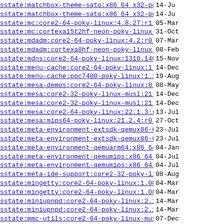sstate:matchbox-theme-sato:x86_64_x32-poky-linu..>  14-Ju
sstate:matchbox-theme-sato:x86_64_x32-poky-linu..>  14-Ju
sstate:mc:core2-64-poky-linux:4.8.27:r1:core2-6..>  05-Mar
sstate:mc:cortexa15t2hf-neon-poky-linux-gnueabi..>  31-Oct
sstate:mdadm:core2-64-poky-linux:4.2:r0:core2-6..>  07-Mar
sstate:mdadm:cortexa8hf-neon-poky-linux-gnueabi..>  08-Feb
sstate:mdns:core2-64-poky-linux:1310.140.1:r0:c..>  15-Nov
sstate:menu-cache:core2-64-poky-linux:1.1.0:r0:..>  14-Dec
sstate:menu-cache:ppc7400-poky-linux:1.1.0:r0:p..>  19-Aug
sstate:mesa-demos:core2-64-poky-linux:8.4.0:r0:..>  08-May
sstate:mesa:core2-32-poky-linux-musl:21.3.1:r0:..>  14-Dec
sstate:mesa:core2-32-poky-linux-musl:21.3.1:r0:..>  14-Dec
sstate:mesa:core2-64-poky-linux:22.1.3:r0:core2..>  13-Jul
sstate:mesa:mips64-poky-linux:21.2.4:r0:mips64:..>  27-Oct
sstate:meta-environment-extsdk-qemux86-64:x86_6..>  23-Jul
sstate:meta-environment-extsdk-qemux86-64:x86_6..>  23-Jul
sstate:meta-environment-qemuarm64:x86_64-native..>  04-Jan
sstate:meta-environment-qemumips:x86_64-natives..>  04-Jul
sstate:meta-environment-qemumips:x86_64-natives..>  04-Jul
sstate:meta-ide-support:core2-32-poky-linux:1.0..>  08-Aug
sstate:mingetty:core2-64-poky-linux:1.08:r3:cor..>  04-Mar
sstate:mingetty:core2-64-poky-linux:1.08:r3:cor..>  04-Mar
sstate:miniupnpd:core2-64-poky-linux:2.1.201910..>  14-Mar
sstate:miniupnpd:core2-64-poky-linux:2.1.201910..>  14-Mar
sstate:mmc-utils:core2-64-poky-linux-musl:0.1+g..>  07-Dec
sstate:mobile-broadband-provider-info:core2-64-..>  14-Dec
sstate:mobile-broadband-provider-info:core2-64-..>  03-Mar
sstate:modutils-initscripts:armv8a-poky-linux:1..>  12-Feb
sstate:mpfr:cortexa57-poky-linux:4.1.0:r0:corte..>  06-Oct
sstate:mpfr:cortexa57-poky-linux:4.1.0:r0:corte..>  06-Oct